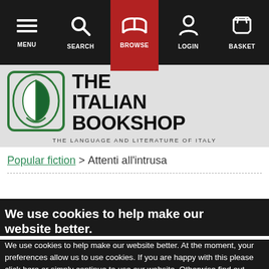MENU | SEARCH | BROWSE | LOGIN | BASKET
[Figure (logo): The Italian Bookshop logo with green book icon and text 'THE ITALIAN BOOKSHOP - THE LANGUAGE AND LITERATURE OF ITALY']
Popular fiction > Attenti all'intrusa
We use cookies to help make our website better.
We use cookies to help make our website better. At the moment, your preferences allow us to use cookies. If you are happy with this please click here or simply continue to use our website. Otherwise find out more and amend your preferences here.